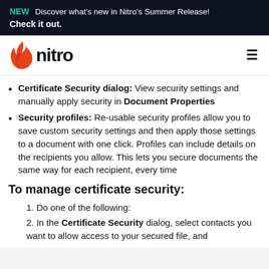NEW  Discover what's new in Nitro's Summer Release! Check it out.
[Figure (logo): Nitro logo with orange flame icon and bold 'nitro' text, plus hamburger menu icon]
Certificate Security dialog: View security settings and manually apply security in Document Properties
Security profiles: Re-usable security profiles allow you to save custom security settings and then apply those settings to a document with one click. Profiles can include details on the recipients you allow. This lets you secure documents the same way for each recipient, every time
To manage certificate security:
Do one of the following:
In the Certificate Security dialog, select contacts you want to allow access to your secured file, and